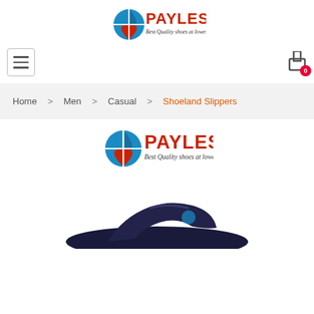[Figure (logo): Payless logo with blue globe and red/black PAYLESS text and tagline 'Best Quality shoes at lowest price!' - top header]
[Figure (logo): Hamburger menu icon button (three horizontal lines in a bordered box)]
[Figure (logo): Shopping cart icon with red badge showing 0]
Home > Men > Casual > Shoeland Slippers
[Figure (logo): Payless logo with blue globe and red/black PAYLESS text and tagline 'Best Quality shoes at lowest price!' - product area]
[Figure (photo): Dark navy blue slipper/flip-flop shoe, partially visible at bottom of page]